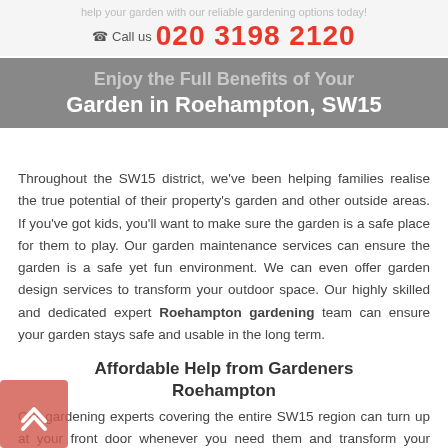help your garden with our reliable gardening options today!
☎ Call us 020 3198 2120
Enjoy the Full Benefits of Your Garden in Roehampton, SW15
Throughout the SW15 district, we've been helping families realise the true potential of their property's garden and other outside areas. If you've got kids, you'll want to make sure the garden is a safe place for them to play. Our garden maintenance services can ensure the garden is a safe yet fun environment. We can even offer garden design services to transform your outdoor space. Our highly skilled and dedicated expert Roehampton gardening team can ensure your garden stays safe and usable in the long term.
Affordable Help from Gardeners Roehampton
Our gardening experts covering the entire SW15 region can turn up at your front door whenever you need them and transform your garden for you at highly affordable rates. It's now so easy to suddenly have the garden of your dreams